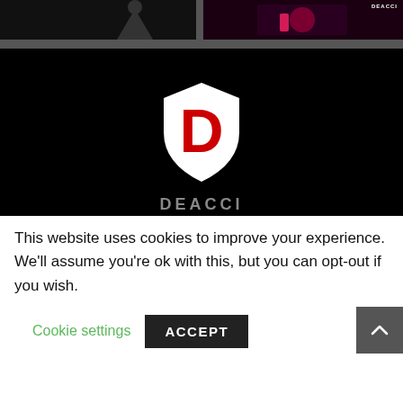[Figure (photo): Two thumbnail images side by side: left shows a person in dark suit with DEACCI label, right shows a guitarist performing with DEACCI label]
[Figure (logo): DEACCI logo on black background: white shield with red letter D, with text DEACCI partially visible at bottom]
This website uses cookies to improve your experience. We'll assume you're ok with this, but you can opt-out if you wish.
Cookie settings
ACCEPT